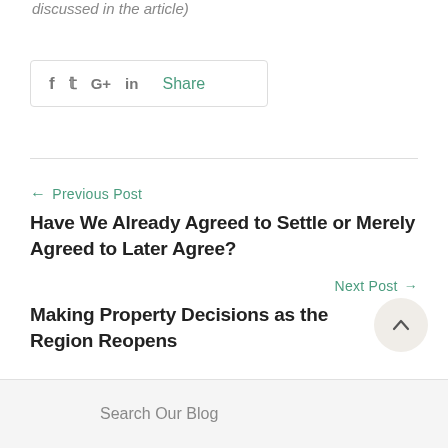discussed in the article)
[Figure (other): Social share bar with icons for Facebook (f), Twitter, Google+ (G+), LinkedIn (in), and a 'Share' label in green]
← Previous Post
Have We Already Agreed to Settle or Merely Agreed to Later Agree?
Next Post →
Making Property Decisions as the Region Reopens
Search Our Blog